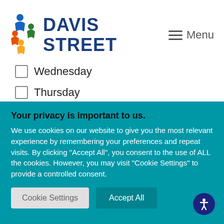[Figure (logo): Davis Street community organization logo with colorful figures and blue text reading DAVIS STREET]
Menu
Wednesday
Thursday
Friday
Your privacy is important to us.
We use cookies on our website to give you the most relevant experience by remembering your preferences and repeat visits. By clicking "Accept All", you consent to the use of ALL the cookies. However, you may visit "Cookie Settings" to provide a controlled consent.
Cookie Settings
Accept All